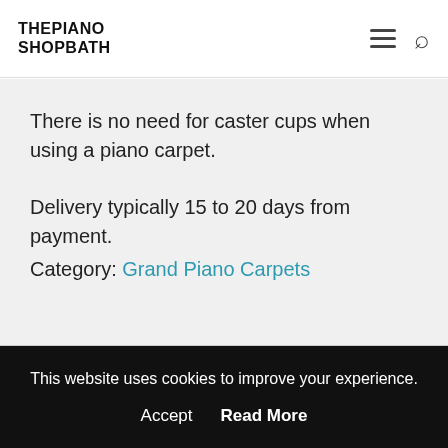THE PIANO SHOP BATH
There is no need for caster cups when using a piano carpet.
Delivery typically 15 to 20 days from payment.
Category: Grand Piano Carpets
This website uses cookies to improve your experience. Accept  Read More